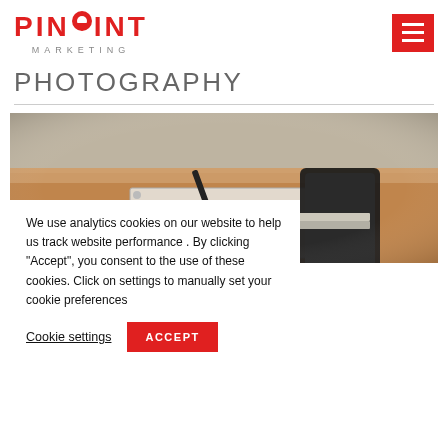PINPOINT MARKETING
PHOTOGRAPHY
[Figure (photo): Desk scene with notebook, pen, and smartphone on a wooden surface — blurred depth of field editorial style photo]
We use analytics cookies on our website to help us track website performance . By clicking “Accept”, you consent to the use of these cookies. Click on settings to manually set your cookie preferences
Cookie settings   ACCEPT
Personal Branding Photography